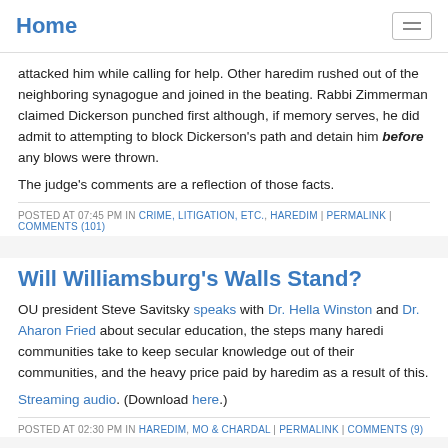Home
attacked him while calling for help. Other haredim rushed out of the neighboring synagogue and joined in the beating. Rabbi Zimmerman claimed Dickerson punched first although, if memory serves, he did admit to attempting to block Dickerson's path and detain him before any blows were thrown.
The judge's comments are a reflection of those facts.
POSTED AT 07:45 PM IN CRIME, LITIGATION, ETC., HAREDIM | PERMALINK | COMMENTS (101)
Will Williamsburg's Walls Stand?
OU president Steve Savitsky speaks with Dr. Hella Winston and Dr. Aharon Fried about secular education, the steps many haredi communities take to keep secular knowledge out of their communities, and the heavy price paid by haredim as a result of this.
Streaming audio. (Download here.)
POSTED AT 02:30 PM IN HAREDIM, MO & CHARDAL | PERMALINK | COMMENTS (9)